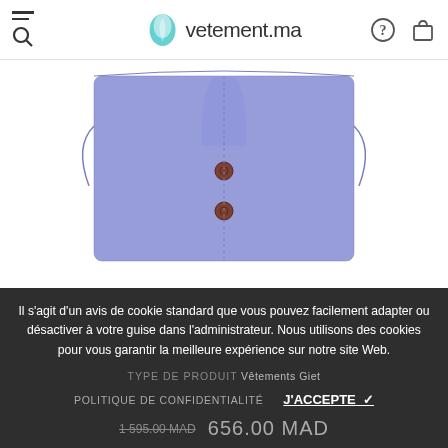vetement.ma
[Figure (photo): Purple/lavender knit button-front vest, close-up top view showing collar and buttons]
[Figure (photo): Two thumbnail views of purple/lavender knit vest: front with buttons (selected/bordered), and back view]
Il s'agit d'un avis de cookie standard que vous pouvez facilement adapter ou désactiver à votre guise dans l'administrateur. Nous utilisons des cookies pour vous garantir la meilleure expérience sur notre site Web.
TYPE DE PRODUIT Vêtements Giet
POLITIQUE DE CONFIDENTIALITÉ   J'ACCEPTE ✓
656.00 MAD